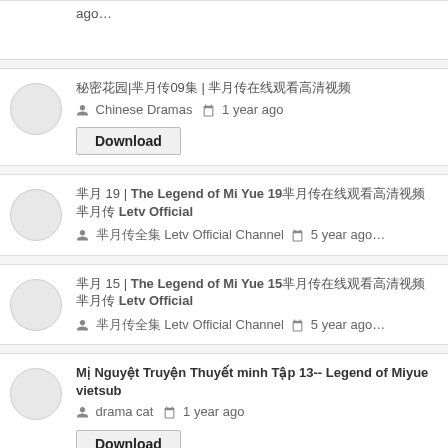ago…
秘密花园|芈月传09集 | 芈月传在线观看高清视频
Chinese Dramas  1 year ago
Download
芈月 19 | The Legend of Mi Yue 19芈月传在线观看高清视频 芈月传 Letv Official
芈月传全集 Letv Official Channel  5 year ago…
芈月 15 | The Legend of Mi Yue 15芈月传在线观看高清视频 芈月传 Letv Official
芈月传全集 Letv Official Channel  5 year ago…
Mị Nguyệt Truyện Thuyết minh Tập 13-- Legend of Miyue vietsub
drama cat  1 year ago
Download